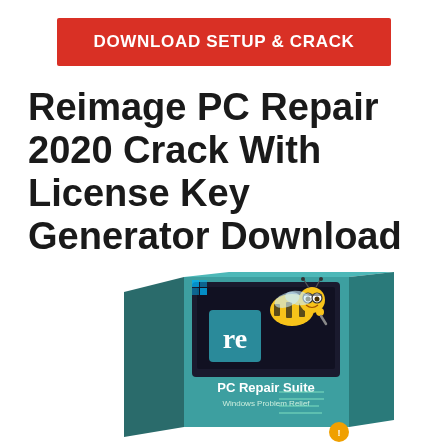[Figure (other): Red button with white bold text: DOWNLOAD SETUP & CRACK]
Reimage PC Repair 2020 Crack With License Key Generator Download
[Figure (illustration): Product box image for Reimage PC Repair Suite - Windows Problem Relief, with a cartoon bee mascot wearing glasses perched on top of the box, and a teal/gold box showing 're' logo icon]